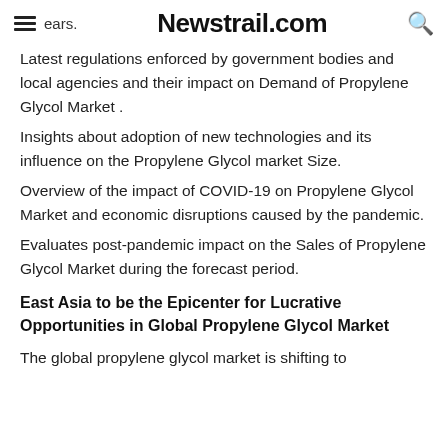ears.  Newstrail.com
Latest regulations enforced by government bodies and local agencies and their impact on Demand of Propylene Glycol Market .
Insights about adoption of new technologies and its influence on the Propylene Glycol market Size.
Overview of the impact of COVID-19 on Propylene Glycol Market and economic disruptions caused by the pandemic.
Evaluates post-pandemic impact on the Sales of Propylene Glycol Market during the forecast period.
East Asia to be the Epicenter for Lucrative Opportunities in Global Propylene Glycol Market
The global propylene glycol market is shifting to